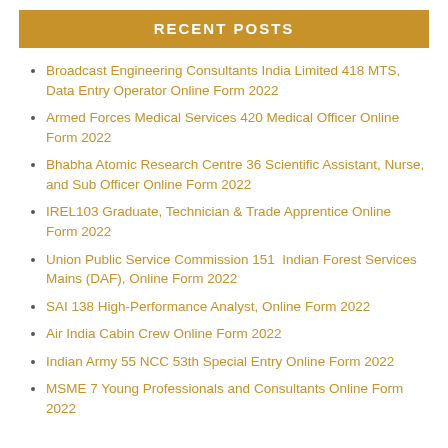RECENT POSTS
Broadcast Engineering Consultants India Limited 418 MTS, Data Entry Operator Online Form 2022
Armed Forces Medical Services 420 Medical Officer Online Form 2022
Bhabha Atomic Research Centre 36 Scientific Assistant, Nurse, and Sub Officer Online Form 2022
IREL103 Graduate, Technician & Trade Apprentice Online Form 2022
Union Public Service Commission 151  Indian Forest Services Mains (DAF), Online Form 2022
SAI 138 High-Performance Analyst, Online Form 2022
Air India Cabin Crew Online Form 2022
Indian Army 55 NCC 53th Special Entry Online Form 2022
MSME 7 Young Professionals and Consultants Online Form 2022